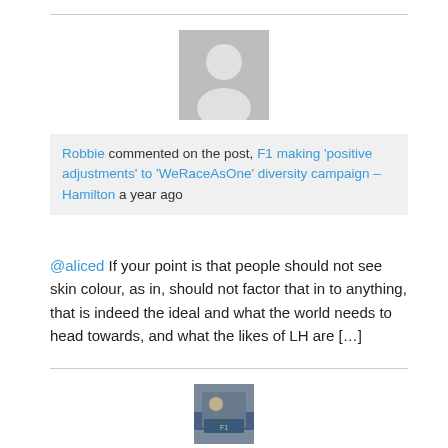[Figure (illustration): Grey silhouette avatar icon for anonymous user]
Robbie commented on the post, F1 making 'positive adjustments' to 'WeRaceAsOne' diversity campaign – Hamilton a year ago
@aliced If your point is that people should not see skin colour, as in, should not factor that in to anything, that is indeed the ideal and what the world needs to head towards, and what the likes of LH are […]
[Figure (photo): Photo of a person at a racing event]